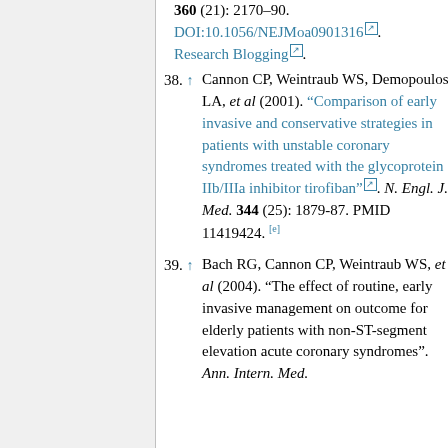360 (21): 2170-90. DOI:10.1056/NEJMoa0901316. Research Blogging.
38. ↑ Cannon CP, Weintraub WS, Demopoulos LA, et al (2001). "Comparison of early invasive and conservative strategies in patients with unstable coronary syndromes treated with the glycoprotein IIb/IIIa inhibitor tirofiban". N. Engl. J. Med. 344 (25): 1879-87. PMID 11419424. [e]
39. ↑ Bach RG, Cannon CP, Weintraub WS, et al (2004). "The effect of routine, early invasive management on outcome for elderly patients with non-ST-segment elevation acute coronary syndromes". Ann. Intern. Med.